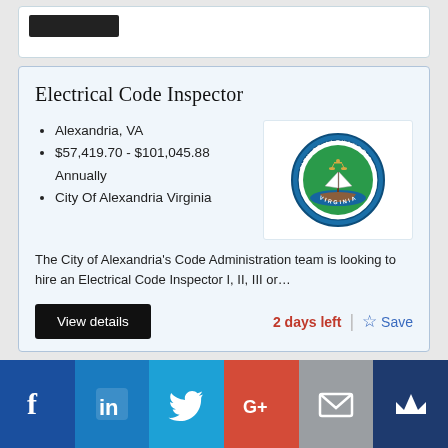[Figure (other): Partially visible card at top with a dark redacted bar]
Electrical Code Inspector
Alexandria, VA
$57,419.70 - $101,045.88 Annually
City Of Alexandria Virginia
[Figure (logo): City of Alexandria Virginia official seal — circular blue/green seal with ship and scales imagery]
The City of Alexandria's Code Administration team is looking to hire an Electrical Code Inspector I, II, III or…
View details
2 days left
Save
[Figure (other): Social media sharing bar with Facebook, LinkedIn, Twitter, Google+, Email, and Crown icons]